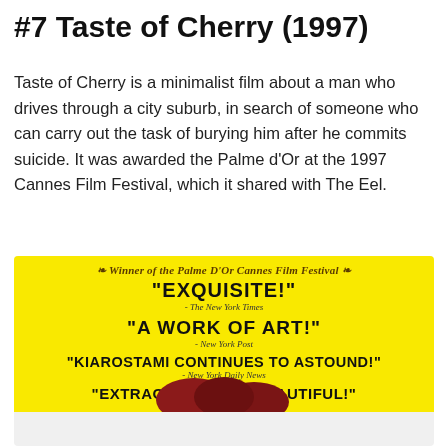#7 Taste of Cherry (1997)
Taste of Cherry is a minimalist film about a man who drives through a city suburb, in search of someone who can carry out the task of burying him after he commits suicide. It was awarded the Palme d'Or at the 1997 Cannes Film Festival, which it shared with The Eel.
[Figure (photo): Movie poster for Taste of Cherry on yellow background. Text reads: Winner of the Palme D'Or Cannes Film Festival (laurel wreath). Quotes: 'EXQUISITE!' - The New York Times; 'A WORK OF ART!' - New York Post; 'KIAROSTAMI CONTINUES TO ASTOUND!' - New York Daily News; 'EXTRAORDINARILY BEAUTIFUL!' - The Village Voice. Bottom shows partial image of cherries.]